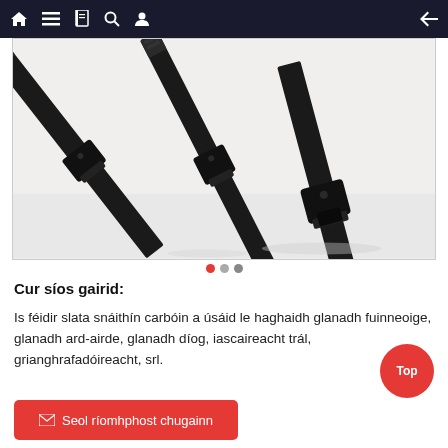Navigation bar with home, menu, book, search, profile icons and back arrow
[Figure (photo): Close-up photo of black carbon fiber rods/poles with threaded connectors against a white background]
Carousel navigation dots (3 dots, first active in red)
Cur síos gairid:
Is féidir slata snáithín carbóin a úsáid le haghaidh glanadh fuinneoige, glanadh ard-airde, glanadh díog, iascaireacht trál, grianghrafadóireacht, srl.
Top
Seol ríomhphost chugainn